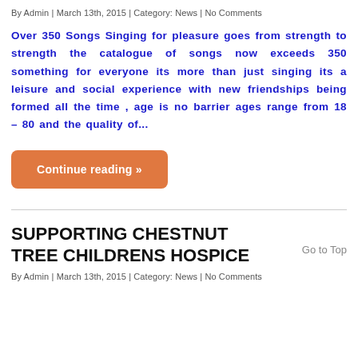By Admin | March 13th, 2015 | Category: News | No Comments
Over 350 Songs Singing for pleasure goes from strength to strength the catalogue of songs now exceeds 350 something for everyone its more than just singing its a leisure and social experience with new friendships being formed all the time , age is no barrier ages range from 18 – 80 and the quality of...
Continue reading »
SUPPORTING CHESTNUT TREE CHILDRENS HOSPICE
Go to Top
By Admin | March 13th, 2015 | Category: News | No Comments